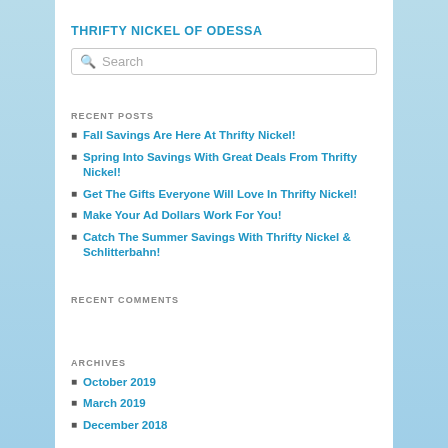THRIFTY NICKEL OF ODESSA
[Figure (other): Search input box with magnifying glass icon and placeholder text 'Search']
RECENT POSTS
Fall Savings Are Here At Thrifty Nickel!
Spring Into Savings With Great Deals From Thrifty Nickel!
Get The Gifts Everyone Will Love In Thrifty Nickel!
Make Your Ad Dollars Work For You!
Catch The Summer Savings With Thrifty Nickel & Schlitterbahn!
RECENT COMMENTS
ARCHIVES
October 2019
March 2019
December 2018